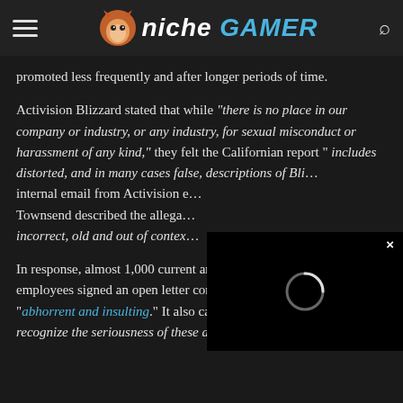Niche Gamer
promoted less frequently and after longer periods of time.
Activision Blizzard stated that while “there is no place in our company or industry, or any industry, for sexual misconduct or harassment of any kind,” they felt the Californian report “ includes distorted, and in many cases false, descriptions of Bli… internal email from Activision e… Townsend described the allega… incorrect, old and out of contex…
In response, almost 1,000 current and former Activision Blizzard employees signed an open letter condemning the response as “abhorrent and insulting.” It also called for official statements “that recognize the seriousness of these allegations and…
[Figure (other): Video player overlay with loading spinner on dark background, with close button (x)]